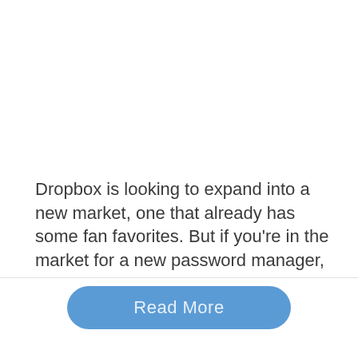Dropbox is looking to expand into a new market, one that already has some fan favorites. But if you're in the market for a new password manager, Dropbox may have you covered in the future.
Read More